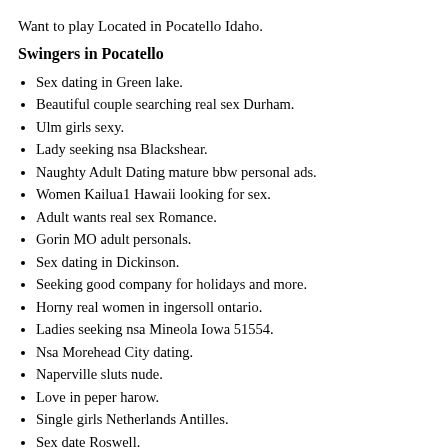Want to play Located in Pocatello Idaho.
Swingers in Pocatello
Sex dating in Green lake.
Beautiful couple searching real sex Durham.
Ulm girls sexy.
Lady seeking nsa Blackshear.
Naughty Adult Dating mature bbw personal ads.
Women Kailua1 Hawaii looking for sex.
Adult wants real sex Romance.
Gorin MO adult personals.
Sex dating in Dickinson.
Seeking good company for holidays and more.
Horny real women in ingersoll ontario.
Ladies seeking nsa Mineola Iowa 51554.
Nsa Morehead City dating.
Naperville sluts nude.
Love in peper harow.
Single girls Netherlands Antilles.
Sex date Roswell.
Sex dating in trevose pennsylvania.
Women want sex Brooklawn.
Ready for a grown woman.
Sex dating in fredonia wisconsin.